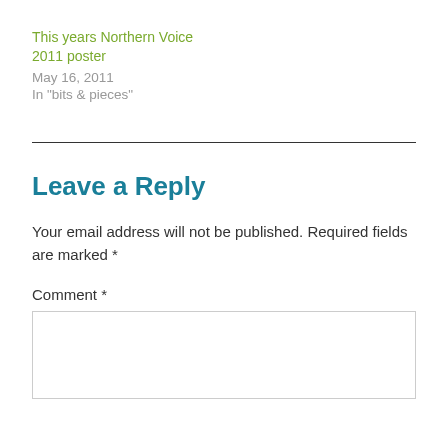This years Northern Voice
2011 poster
May 16, 2011
In "bits & pieces"
Leave a Reply
Your email address will not be published. Required fields are marked *
Comment *